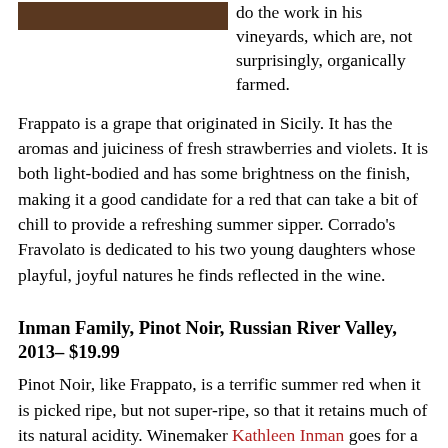[Figure (photo): Partial photo of vineyard/wine scene at top left of page]
do the work in his vineyards, which are, not surprisingly, organically farmed.
Frappato is a grape that originated in Sicily. It has the aromas and juiciness of fresh strawberries and violets. It is both light-bodied and has some brightness on the finish, making it a good candidate for a red that can take a bit of chill to provide a refreshing summer sipper. Corrado's Fravolato is dedicated to his two young daughters whose playful, joyful natures he finds reflected in the wine.
Inman Family, Pinot Noir, Russian River Valley, 2013– $19.99
Pinot Noir, like Frappato, is a terrific summer red when it is picked ripe, but not super-ripe, so that it retains much of its natural acidity. Winemaker Kathleen Inman goes for a more elegant style of Pinot—lighter-bodied, lower-sugar and therefore lower levels of alcohol and bright acidity.
Inman owns 10.5 acres in Sonoma's Russian River Valley, 7.2 of which are planted to Pinot Noir and Pinot Gris and are farmed